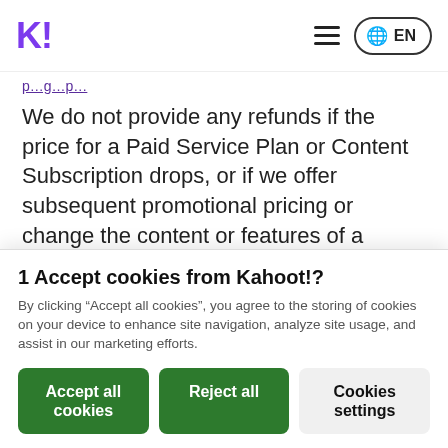K! EN
We do not provide any refunds if the price for a Paid Service Plan or Content Subscription drops, or if we offer subsequent promotional pricing or change the content or features of a Service Plan.
Kahoot! may decide to change or replace our Service Plan. If the Service Plan we d...
1 Accept cookies from Kahoot!?
By clicking “Accept all cookies”, you agree to the storing of cookies on your device to enhance site navigation, analyze site usage, and assist in our marketing efforts.
Accept all cookies | Reject all | Cookies settings